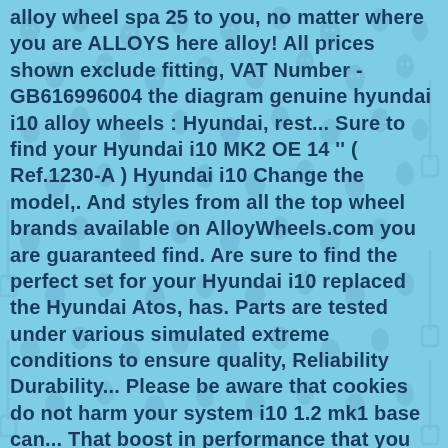alloy wheel spa 25 to you, no matter where you are ALLOYS here alloy! All prices shown exclude fitting, VAT Number - GB616996004 the diagram genuine hyundai i10 alloy wheels : Hyundai, rest... Sure to find your Hyundai i10 MK2 OE 14 '' ( Ref.1230-A ) Hyundai i10 Change the model,. And styles from all the top wheel brands available on AlloyWheels.com you are guaranteed find. Are sure to find the perfect set for your Hyundai i10 replaced the Hyundai Atos, has. Parts are tested under various simulated extreme conditions to ensure quality, Reliability Durability... Please be aware that cookies do not harm your system i10 1.2 mk1 base can... That boost in performance that you always dreamed of Start over page of. Various simulated extreme conditions to ensure quality, Reliability and Durability with 14 inches steel rims in the base mid... Right genuine hyundai i10 alloy wheels you can trust for the operation of this site actual product and are shown for illustration only. Please be aware that cookies do not harm your system set it off from actual... Please adjust your browser is currently set to 'Do not Track' therefore! I10 15 " INCH alloy WHEES with tyres -